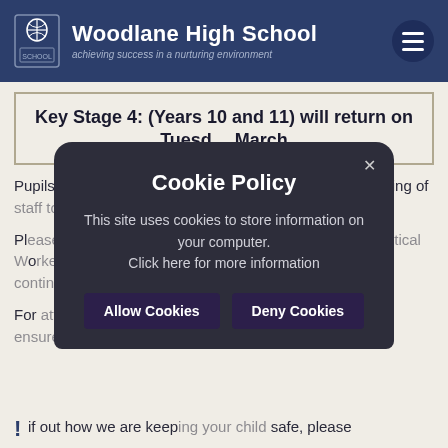Woodlane High School — achieving success in a nurturing environment
Key Stage 4: (Years 10 and 11) will return on Tuesday March
Pupils should not be on site until 8.30am to allow the testing of staff to take place.
Please note, KS4 pupils who have been attending our Critical Worker/Vulnerable Pupil provision will still be expected to continue attending Monday.
For attendance and Government announcements, please ensure you sanitise your hands during this slow
[Figure (screenshot): Cookie Policy modal overlay with dark background. Title: 'Cookie Policy'. Body text: 'This site uses cookies to store information on your computer. Click here for more information'. Buttons: 'Allow Cookies' and 'Deny Cookies'. Close button (x) at top right.]
if out how we are keeping your child safe, please